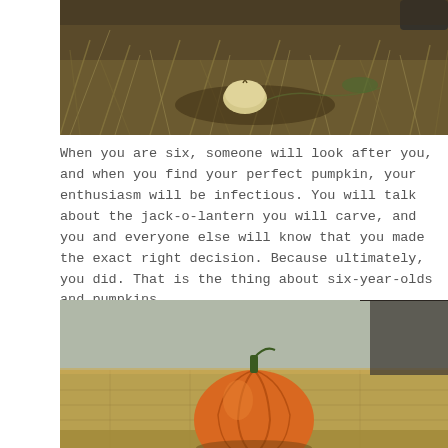[Figure (photo): Outdoor photo of dry grass, dead vines, and a small pale pumpkin or gourd on dark soil ground]
When you are six, someone will look after you, and when you find your perfect pumpkin, your enthusiasm will be infectious. You will talk about the jack-o-lantern you will carve, and you and everyone else will know that you made the exact right decision. Because ultimately, you did. That is the thing about six-year-olds and pumpkins.
[Figure (photo): Photo of a large orange pumpkin sitting on top of hay bales, with a barn structure visible in the background]